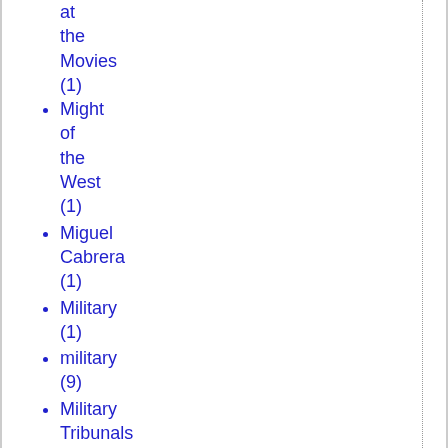at the Movies (1)
Might of the West (1)
Miguel Cabrera (1)
Military (1)
military (9)
Military Tribunals (2)
Military-Industrial Complex (1)
Milton Friedman